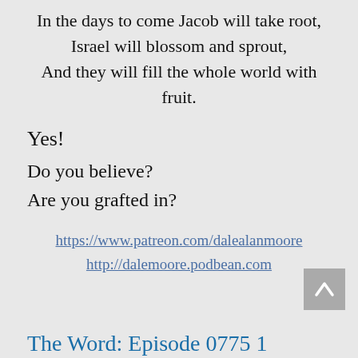In the days to come Jacob will take root,
Israel will blossom and sprout,
And they will fill the whole world with fruit.
Yes!
Do you believe?
Are you grafted in?
https://www.patreon.com/dalealanmoore
http://dalemoore.podbean.com
The Word: Episode 0775 1